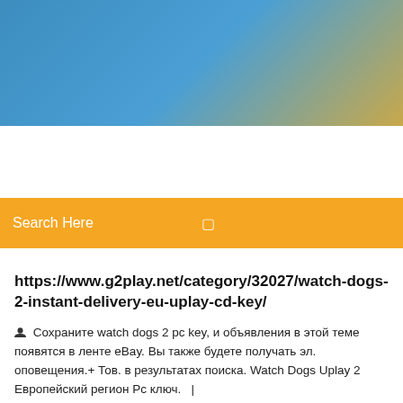[Figure (other): Website header banner with blue gradient and partial yellow/warm tone at right edge]
[Figure (screenshot): Orange/yellow search bar with placeholder text 'Search Here' and a small search icon on the right]
https://www.g2play.net/category/32027/watch-dogs-2-instant-delivery-eu-uplay-cd-key/
Сохраните watch dogs 2 pc key, и объявления в этой теме появятся в ленте eBay. Вы также будете получать эл. оповещения.+ Тов. в результатах поиска. Watch Dogs Uplay 2 Европейский регион Рс ключ.   |
2 Comments
Jetzt Watch Dogs 2 kaufen! Bei uns bekommen Sie den Key für